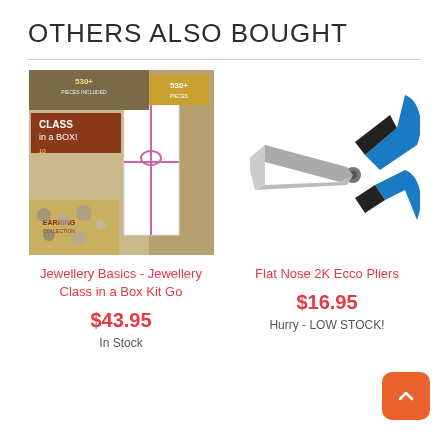OTHERS ALSO BOUGHT
[Figure (photo): Jewellery Basics Class in a Box Kit product image showing earring collection packaging]
[Figure (photo): Flat Nose 2K Ecco Pliers with blue and black handles]
Jewellery Basics - Jewellery Class in a Box Kit Go
$43.95
In Stock
Flat Nose 2K Ecco Pliers
$16.95
Hurry - LOW STOCK!